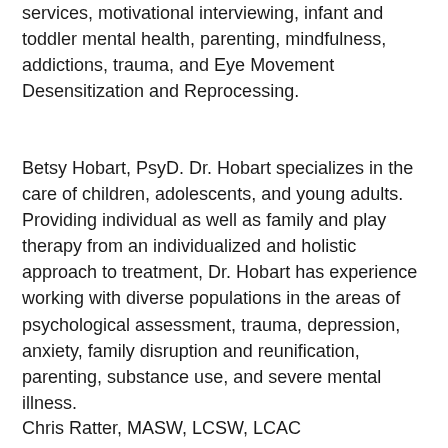services, motivational interviewing, infant and toddler mental health, parenting, mindfulness, addictions, trauma, and Eye Movement Desensitization and Reprocessing.
Betsy Hobart, PsyD. Dr. Hobart specializes in the care of children, adolescents, and young adults. Providing individual as well as family and play therapy from an individualized and holistic approach to treatment, Dr. Hobart has experience working with diverse populations in the areas of psychological assessment, trauma, depression, anxiety, family disruption and reunification, parenting, substance use, and severe mental illness.
Chris Ratter, MASW, LCSW, LCAC